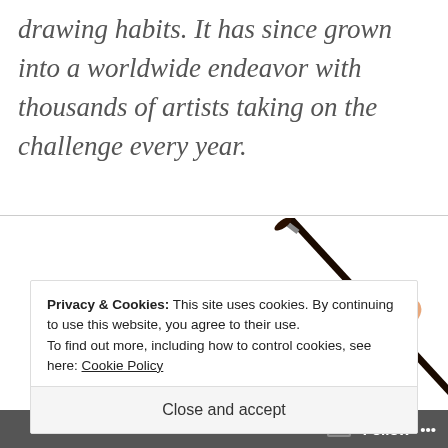drawing habits. It has since grown into a worldwide endeavor with thousands of artists taking on the challenge every year.
[Figure (illustration): Cartoon illustration of a boy in a red shirt joyfully swinging a large paintbrush, with papers flying around him and a brown bag on his back.]
Privacy & Cookies: This site uses cookies. By continuing to use this website, you agree to their use.
To find out more, including how to control cookies, see here: Cookie Policy
Close and accept
Follow ···